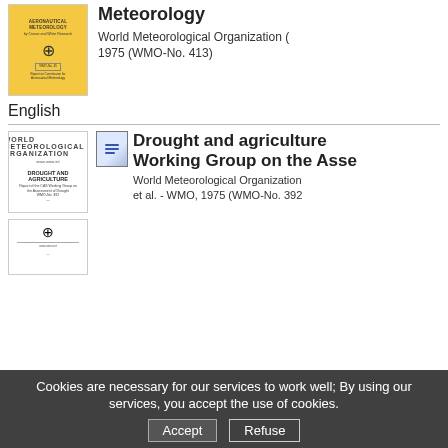[Figure (photo): Yellow book cover of Aeronautical Meteorology publication with WMO emblem]
Meteorology
World Meteorological Organization (
1975 (WMO-No. 413)
English
[Figure (photo): Book cover of Drought and Agriculture publication with WMO header and logos]
[Figure (illustration): Document icon with horizontal lines]
Drought and agriculture
Working Group on the Asse
World Meteorological Organization
et al. - WMO, 1975 (WMO-No. 392
[Figure (photo): Third book cover with WMO emblem]
English
Cookies are necessary for our services to work well; By using our services, you accept the use of cookies.
Refuse
Accept